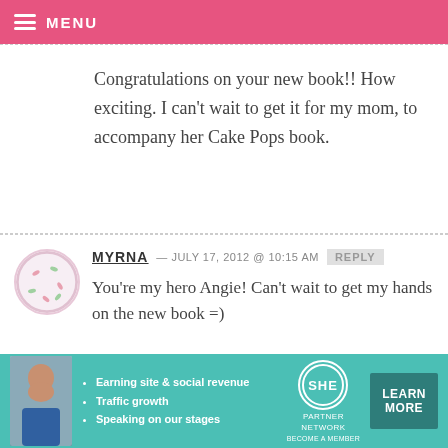MENU
Congratulations on your new book!! How exciting. I can't wait to get it for my mom, to accompany her Cake Pops book.
MYRNA — JULY 17, 2012 @ 10:15 AM REPLY
You're my hero Angie! Can't wait to get my hands on the new book =)
[Figure (other): Advertisement banner for SHE Partner Network with photo of a woman, bullet points about earning site & social revenue, traffic growth, speaking on our stages, SHE logo, and Learn More button]